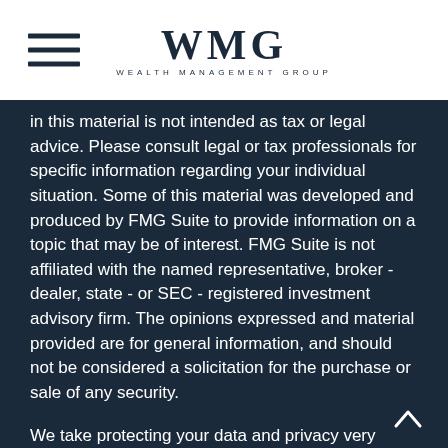WMG WEALTH MANAGEMENT GROUP
in this material is not intended as tax or legal advice. Please consult legal or tax professionals for specific information regarding your individual situation. Some of this material was developed and produced by FMG Suite to provide information on a topic that may be of interest. FMG Suite is not affiliated with the named representative, broker - dealer, state - or SEC - registered investment advisory firm. The opinions expressed and material provided are for general information, and should not be considered a solicitation for the purchase or sale of any security.
We take protecting your data and privacy very seriously. As of January 1, 2020 the California